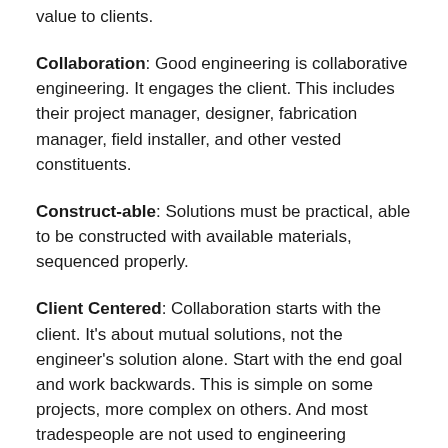value to clients.
Collaboration: Good engineering is collaborative engineering. It engages the client. This includes their project manager, designer, fabrication manager, field installer, and other vested constituents.
Construct-able: Solutions must be practical, able to be constructed with available materials, sequenced properly.
Client Centered: Collaboration starts with the client. It's about mutual solutions, not the engineer's solution alone. Start with the end goal and work backwards. This is simple on some projects, more complex on others. And most tradespeople are not used to engineering professionals talking to them, respecting their opinion, valuing their input. Win over the installers and project managers, and win the client long-term (and learn something in the process.)